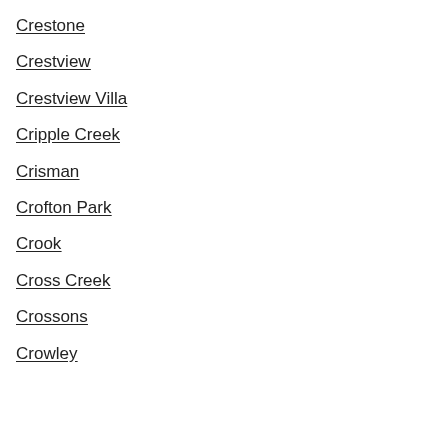Crestone
Crestview
Crestview Villa
Cripple Creek
Crisman
Crofton Park
Crook
Cross Creek
Crossons
Crowley